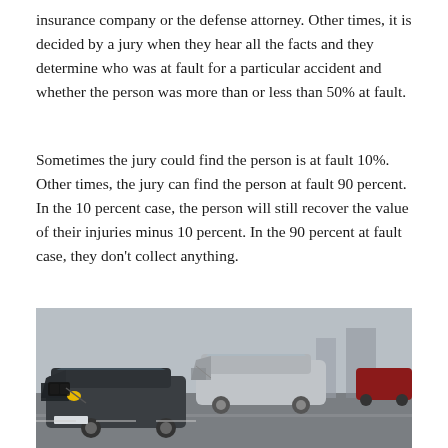insurance company or the defense attorney. Other times, it is decided by a jury when they hear all the facts and they determine who was at fault for a particular accident and whether the person was more than or less than 50% at fault.
Sometimes the jury could find the person is at fault 10%. Other times, the jury can find the person at fault 90 percent. In the 10 percent case, the person will still recover the value of their injuries minus 10 percent. In the 90 percent at fault case, they don't collect anything.
[Figure (photo): A car crash scene on a road showing multiple damaged vehicles including a dark BMW in the foreground with a crushed front end and a silver sedan in the background also heavily damaged, taken on a city road.]